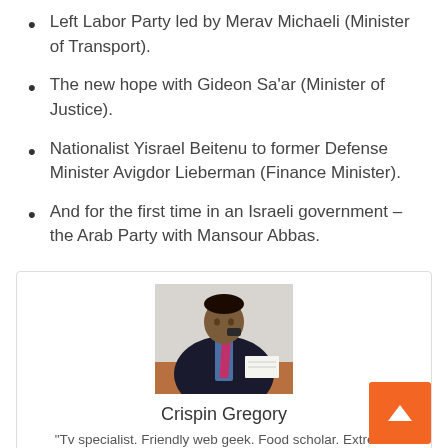Left Labor Party led by Merav Michaeli (Minister of Transport).
The new hope with Gideon Sa'ar (Minister of Justice).
Nationalist Yisrael Beitenu to former Defense Minister Avigdor Lieberman (Finance Minister).
And for the first time in an Israeli government – the Arab Party with Mansour Abbas.
[Figure (photo): Person in dark suit sitting at a desk, writing on paper and talking on phone]
Crispin Gregory
“Tv specialist. Friendly web geek. Food scholar. Extreme